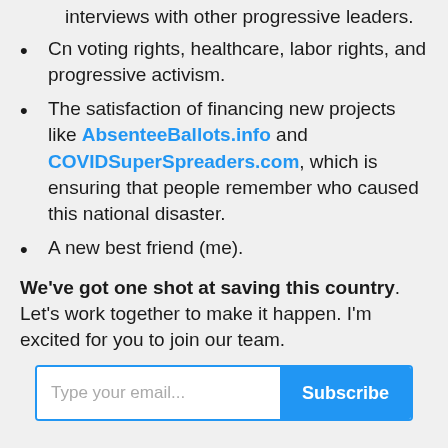interviews with other progressive leaders.
Cn voting rights, healthcare, labor rights, and progressive activism.
The satisfaction of financing new projects like AbsenteeBallots.info and COVIDSuperSpreaders.com, which is ensuring that people remember who caused this national disaster.
A new best friend (me).
We've got one shot at saving this country. Let's work together to make it happen. I'm excited for you to join our team.
Type your email... Subscribe